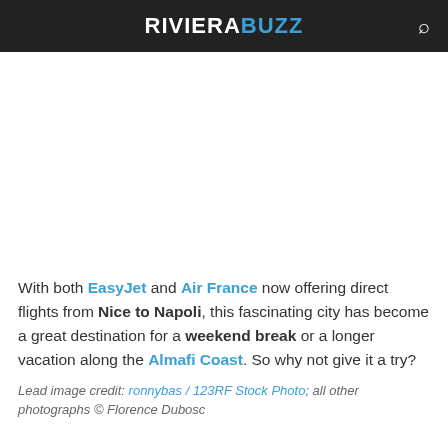RIVIERA BUZZ
[Figure (photo): White/blank image area placeholder for a photo of Napoli or Amalfi Coast]
With both EasyJet and Air France now offering direct flights from Nice to Napoli, this fascinating city has become a great destination for a weekend break or a longer vacation along the Almafi Coast. So why not give it a try?
Lead image credit: ronnybas / 123RF Stock Photo; all other photographs © Florence Dubosc